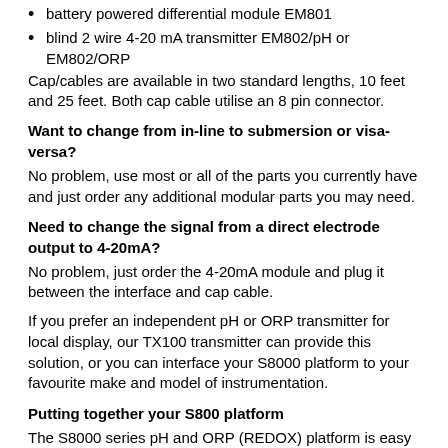battery powered differential module EM801
blind 2 wire 4-20 mA transmitter EM802/pH or EM802/ORP
Cap/cables are available in two standard lengths, 10 feet and 25 feet. Both cap cable utilise an 8 pin connector.
Want to change from in-line to submersion or visa-versa?
No problem, use most or all of the parts you currently have and just order any additional modular parts you may need.
Need to change the signal from a direct electrode output to 4-20mA?
No problem, just order the 4-20mA module and plug it between the interface and cap cable.
If you prefer an independent pH or ORP transmitter for local display, our TX100 transmitter can provide this solution, or you can interface your S8000 platform to your favourite make and model of instrumentation.
Putting together your S800 platform
The S8000 series pH and ORP (REDOX) platform is easy to configure. You order only the components that you need. The same electrode can be used for in-line or submersion installations. You can configure the mounting pieces to suit